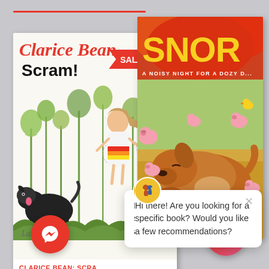[Figure (screenshot): Screenshot of an online bookstore showing two children's book covers: 'Clarice Bean: Scram!' with a SALE badge on the left, and 'Snore: A Noisy Night for a Dozy Dog' on the right. Below the left book is the title and price (₹699.00 crossed out, ₹594.00 sale price). A chat popup in the lower right shows a customer service message. Two round buttons appear at the bottom: a Facebook Messenger button on the left and a live chat button on the right.]
CLARICE BEAN: SCRA...
Price: ₹699.00 ₹594.00
Hi there! Are you looking for a specific book? Would you like a few recommendations?